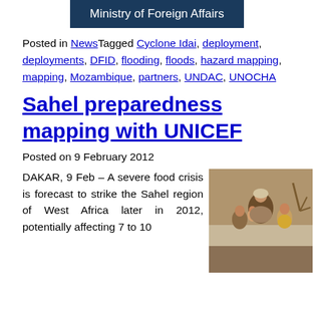[Figure (logo): Ministry of Foreign Affairs banner/logo, dark blue background with white text]
Posted in NewsTagged Cyclone Idai, deployment, deployments, DFID, flooding, floods, hazard mapping, mapping, Mozambique, partners, UNDAC, UNOCHA
Sahel preparedness mapping with UNICEF
Posted on 9 February 2012
DAKAR, 9 Feb – A severe food crisis is forecast to strike the Sahel region of West Africa later in 2012, potentially affecting 7 to 10...
[Figure (photo): Photo of a woman with children in the Sahel region]